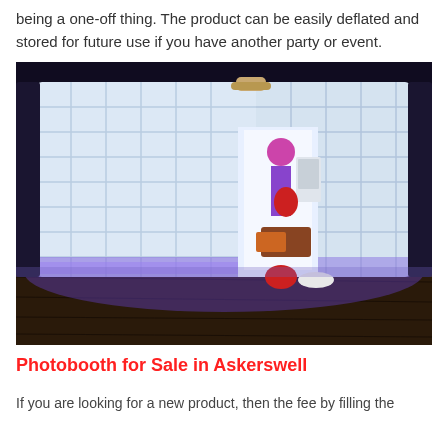being a one-off thing. The product can be easily deflated and stored for future use if you have another party or event.
[Figure (photo): An illuminated white inflatable photo booth structure with blue/purple LED lighting on a dark wooden floor. A doorway opening is visible with colorful props and equipment inside.]
Photobooth for Sale in Askerswell
If you are looking for a new product, then the fee by filling the